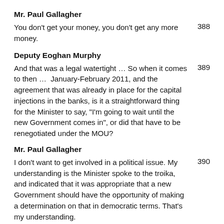Mr. Paul Gallagher
You don't get your money, you don't get any more money.   388
Deputy Eoghan Murphy
And that was a legal watertight … So when it comes to then … January-February 2011, and the agreement that was already in place for the capital injections in the banks, is it a straightforward thing for the Minister to say, "I'm going to wait until the new Government comes in", or did that have to be renegotiated under the MOU?   389
Mr. Paul Gallagher
I don't want to get involved in a political issue. My understanding is the Minister spoke to the troika, and indicated that it was appropriate that a new Government should have the opportunity of making a determination on that in democratic terms. That's my understanding.   390
Deputy Eoghan Murphy
So the MOU allowed us to––   391